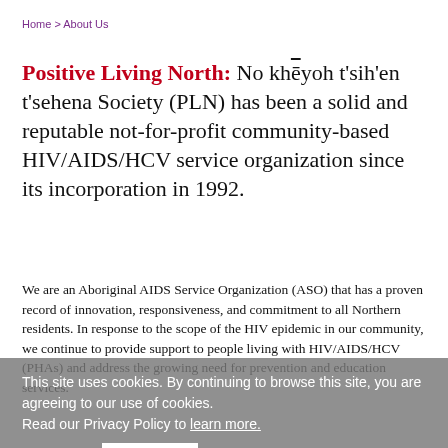Home > About Us
Positive Living North: No khēyoh t'sih'en t'sehena Society (PLN) has been a solid and reputable not-for-profit community-based HIV/AIDS/HCV service organization since its incorporation in 1992.
We are an Aboriginal AIDS Service Organization (ASO) that has a proven record of innovation, responsiveness, and commitment to all Northern residents. In response to the scope of the HIV epidemic in our community, we continue to provide support to people living with HIV/AIDS/HCV (PHAs) and address the growing need for prevention and education services.
This site uses cookies. By continuing to browse this site, you are agreeing to our use of cookies. Read our Privacy Policy to learn more.
Got it!
With approximately 90% of our members being of Aboriginal ancestry, we strive to provide our services in a culturally-appropriate manner to both Aboriginal and non-Aboriginal people, and to that end legally became an Aboriginal organization in 2003. Although we identify as an Aboriginal